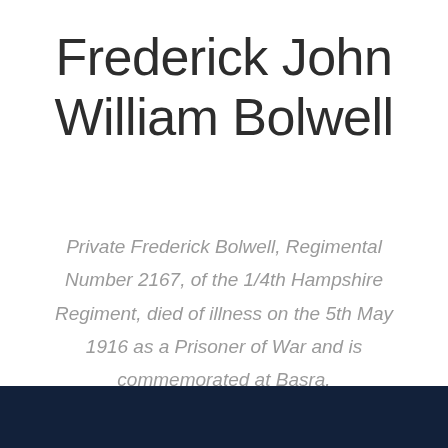Frederick John William Bolwell
Private Frederick Bolwell, Regimental Number 2167, of the 1/4th Hampshire Regiment, died of illness on the 5th May 1916 as a Prisoner of War and is commemorated at Basra.